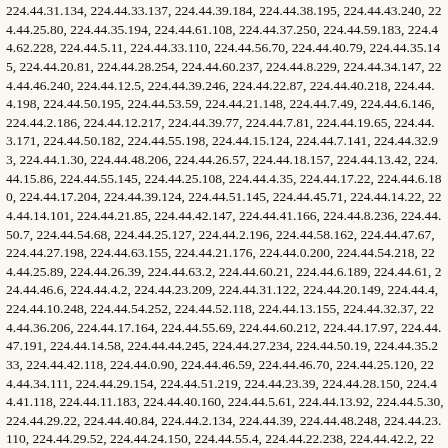224.44.31.134, 224.44.33.137, 224.44.39.184, 224.44.38.195, 224.44.43.240, 224.44.25.80, 224.44.35.194, 224.44.61.108, 224.44.37.250, 224.44.59.183, 224.44.62.228, 224.44.5.11, 224.44.33.110, 224.44.56.70, 224.44.40.79, 224.44.35.145, 224.44.20.81, 224.44.28.254, 224.44.60.237, 224.44.8.229, 224.44.34.147, 224.44.46.240, 224.44.12.5, 224.44.39.246, 224.44.22.87, 224.44.40.218, 224.44.4.198, 224.44.50.195, 224.44.53.59, 224.44.21.148, 224.44.7.49, 224.44.6.146, 224.44.2.186, 224.44.12.217, 224.44.39.77, 224.44.7.81, 224.44.19.65, 224.44.3.171, 224.44.50.182, 224.44.55.198, 224.44.15.124, 224.44.7.141, 224.44.32.93, 224.44.1.30, 224.44.48.206, 224.44.26.57, 224.44.18.157, 224.44.13.42, 224.44.15.86, 224.44.55.145, 224.44.25.108, 224.44.4.35, 224.44.17.22, 224.44.6.180, 224.44.17.204, 224.44.39.124, 224.44.51.145, 224.44.45.71, 224.44.14.22, 224.44.14.101, 224.44.21.85, 224.44.42.147, 224.44.41.166, 224.44.8.236, 224.44.50.7, 224.44.54.68, 224.44.25.127, 224.44.2.196, 224.44.58.162, 224.44.47.67, 224.44.27.198, 224.44.63.155, 224.44.21.176, 224.44.0.200, 224.44.54.218, 224.44.25.89, 224.44.26.39, 224.44.63.2, 224.44.60.21, 224.44.6.189, 224.44.61, 224.44.46.6, 224.44.4.2, 224.44.23.209, 224.44.31.122, 224.44.20.149, 224.44.4, 224.44.10.248, 224.44.54.252, 224.44.52.118, 224.44.13.155, 224.44.32.37, 224.44.36.206, 224.44.17.164, 224.44.55.69, 224.44.60.212, 224.44.17.97, 224.44.47.191, 224.44.14.58, 224.44.44.245, 224.44.27.234, 224.44.50.19, 224.44.35.233, 224.44.42.118, 224.44.0.90, 224.44.46.59, 224.44.46.70, 224.44.25.120, 224.44.34.111, 224.44.29.154, 224.44.51.219, 224.44.23.39, 224.44.28.150, 224.44.41.118, 224.44.11.183, 224.44.40.160, 224.44.5.61, 224.44.13.92, 224.44.5.30, 224.44.29.22, 224.44.40.84, 224.44.2.134, 224.44.39, 224.44.48.248, 224.44.23.110, 224.44.29.52, 224.44.24.150, 224.44.55.4, 224.44.22.238, 224.44.42.2, 224.44.57.226, 224.44.50.75, 224.44.49.182, 224.44.46.17, 224.44.6.135, 224.44.20.175, 224.44.8.247, 224.44.34.203, 224.44.31.250, 224.44.2.107, 224.44.34.137, 224.44.39.244, 224.44.24.111, 224.44.34.80, 224.44.21.11, 224.44.50.56, 224.44.40.152, 224.44.18.56, 224.44.28.250, 224.44.56.246, 224.44.5.24, 224.44.14.75, 224.44.20.148, 224.44.45.240, 224.44.58.45, 224.44.19.172, 224.44.48.111, 224.44.62.86, 224.44.11.38, 224.44.57.219, 224.44.34.195, 224.44.24.254, 224.44.55.176, 224.44.58.145, 224.44.62.175, 224.44.25.62, 224.44.26.159, 224.44.56.16